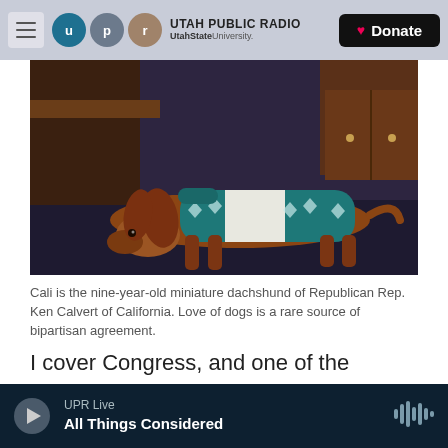UTAH PUBLIC RADIO | UtahStateUniversity. | Donate
[Figure (photo): A miniature dachshund wearing a teal/white Nordic-pattern sweater, standing indoors near wooden furniture on a dark floor.]
Cali is the nine-year-old miniature dachshund of Republican Rep. Ken Calvert of California. Love of dogs is a rare source of bipartisan agreement.
I cover Congress, and one of the coolest secrets about my job is the furry, four-legged friend I get to bring to work everyday.
UPR Live
All Things Considered